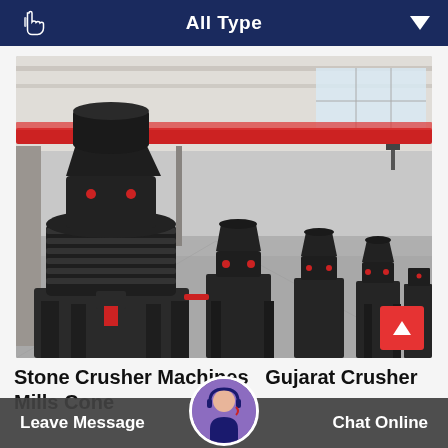All Type
[Figure (photo): Factory floor showing multiple large stone crusher / cone crusher machines in a row inside an industrial warehouse with overhead red crane beam and large windows]
Stone Crusher Machine  Gujarat Crusher Mills Cone
Leave Message  Chat Online